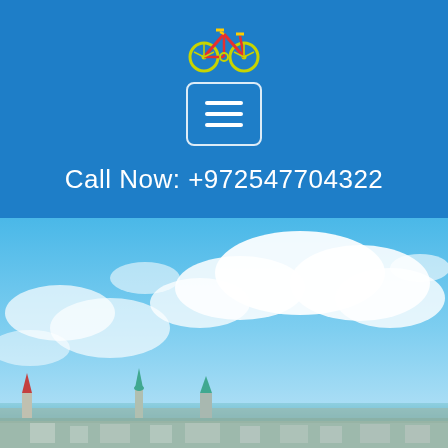[Figure (logo): Colorful bicycle logo icon with green, yellow, and red colors]
[Figure (other): Hamburger menu button — three white horizontal lines in a rounded white-bordered rectangle on blue background]
Call Now: +972547704322
[Figure (photo): Outdoor cityscape photo showing blue sky with white clouds, with church/mosque spires and buildings along a waterfront at the bottom of the frame]